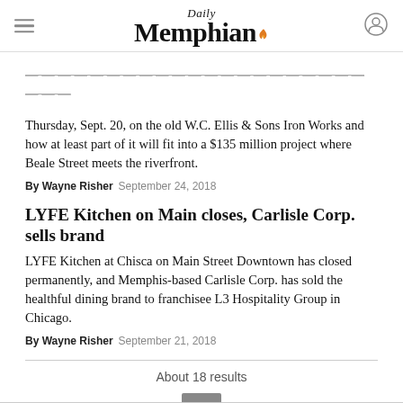Daily Memphian
Thursday, Sept. 20, on the old W.C. Ellis & Sons Iron Works and how at least part of it will fit into a $135 million project where Beale Street meets the riverfront.
By Wayne Risher  September 24, 2018
LYFE Kitchen on Main closes, Carlisle Corp. sells brand
LYFE Kitchen at Chisca on Main Street Downtown has closed permanently, and Memphis-based Carlisle Corp. has sold the healthful dining brand to franchisee L3 Hospitality Group in Chicago.
By Wayne Risher  September 21, 2018
About 18 results
1